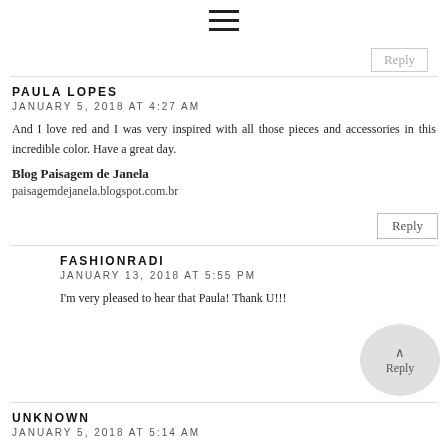[Figure (other): Hamburger menu icon (three horizontal lines)]
Reply
PAULA LOPES
JANUARY 5, 2018 AT 4:27 AM
And I love red and I was very inspired with all those pieces and accessories in this incredible color. Have a great day.
Blog Paisagem de Janela
paisagemdejanela.blogspot.com.br
Reply
FASHIONRADI
JANUARY 13, 2018 AT 5:55 PM
I'm very pleased to hear that Paula! Thank U!!!
Reply
UNKNOWN
JANUARY 5, 2018 AT 5:14 AM